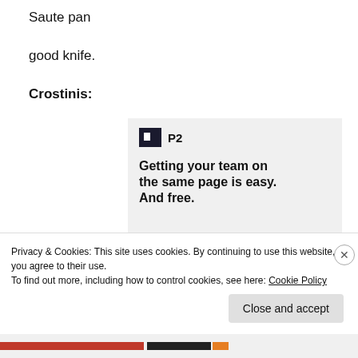Saute pan
good knife.
Crostinis:
[Figure (screenshot): P2 advertisement screenshot showing floppy disk logo, 'P2' text, tagline 'Getting your team on the same page is easy. And free.' with circular avatar images below]
Privacy & Cookies: This site uses cookies. By continuing to use this website, you agree to their use.
To find out more, including how to control cookies, see here: Cookie Policy
Close and accept